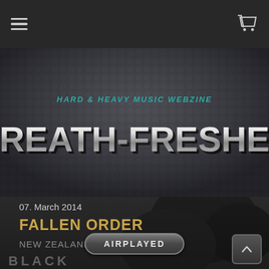Navigation bar with hamburger menu and cart icon
[Figure (logo): Breath-Fresher Hard & Heavy Music Webzine logo on metal dot-grid textured background. Tagline: HARD & HEAVY MUSIC WEBZINE. Main title: BREATH-FRESHER in large chrome metallic letters.]
07. March 2014
FALLEN ORDER
NEW ZEALAND
AIRPLAYED